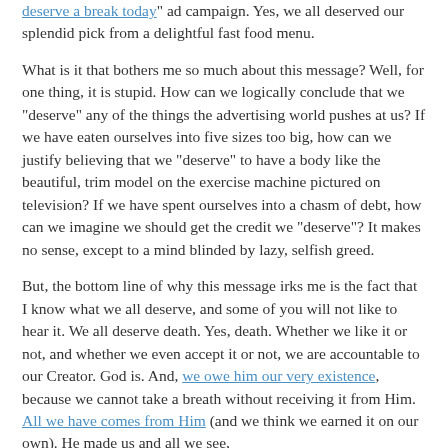deserve a break today" ad campaign. Yes, we all deserved our splendid pick from a delightful fast food menu.
What is it that bothers me so much about this message? Well, for one thing, it is stupid. How can we logically conclude that we "deserve" any of the things the advertising world pushes at us? If we have eaten ourselves into five sizes too big, how can we justify believing that we "deserve" to have a body like the beautiful, trim model on the exercise machine pictured on television? If we have spent ourselves into a chasm of debt, how can we imagine we should get the credit we "deserve"? It makes no sense, except to a mind blinded by lazy, selfish greed.
But, the bottom line of why this message irks me is the fact that I know what we all deserve, and some of you will not like to hear it. We all deserve death. Yes, death. Whether we like it or not, and whether we even accept it or not, we are accountable to our Creator. God is. And, we owe him our very existence, because we cannot take a breath without receiving it from Him. All we have comes from Him (and we think we earned it on our own). He made us and all we see,